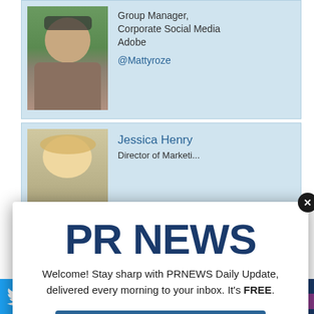[Figure (screenshot): Profile card with photo of a man in glasses. Text shows: Group Manager, Corporate Social Media, Adobe, @Mattyroze]
Group Manager, Corporate Social Media Adobe
@Mattyroze
[Figure (screenshot): Profile card with photo of a blonde woman. Name: Jessica Henry. Title partially visible: Director of Marketing]
Jessica Henry
Director of Marketing
[Figure (screenshot): Modal popup with PR NEWS logo and subscription offer]
PR NEWS
Welcome! Stay sharp with PRNEWS Daily Update, delivered every morning to your inbox. It's FREE.
Subscribe Now
content as they are in the quality and utility of the content. This session will show PR pros how to use the power of story, all their content assets, collaborate, serve as department
[Figure (infographic): Bottom bar with Twitter icon, PR NEWS Education A-List badge, and Apply For Free nomination deadline Aug. 25 promo]